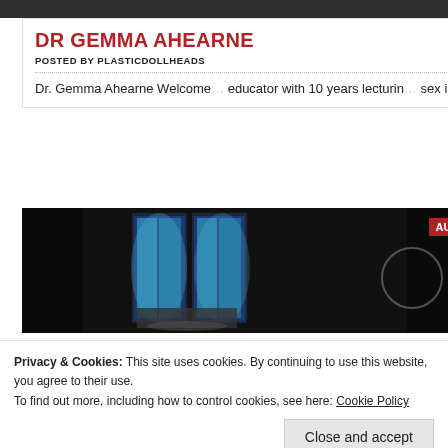[Figure (photo): Dark top image strip from a blog or website header]
DR GEMMA AHEARNE
POSTED BY PLASTICDOLLHEADS
Dr. Gemma Ahearne Welcome educator with 10 years lecturing sex industry. As a proud Dyslex 'out of the box' ways of commu
[Figure (photo): Church interior with tall stained glass windows, dark atmosphere. AUG badge visible in top right. Partial circle element visible.]
Academia
Anxiety
art
Beauty
Birkenhead
Body Regulation
Celebrity
Chav
Conferences
covid
Creative Research Methods
Privacy & Cookies: This site uses cookies. By continuing to use this website, you agree to their use.
To find out more, including how to control cookies, see here: Cookie Policy
Close and accept
POSTED BY PLASTICDOLLHEADS
Dolls/ Barbie